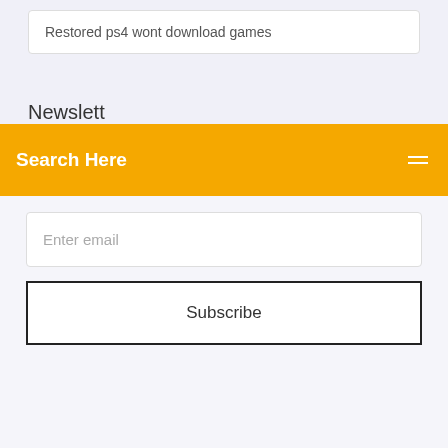Restored ps4 wont download games
Newslett
Search Here
Enter email
Subscribe